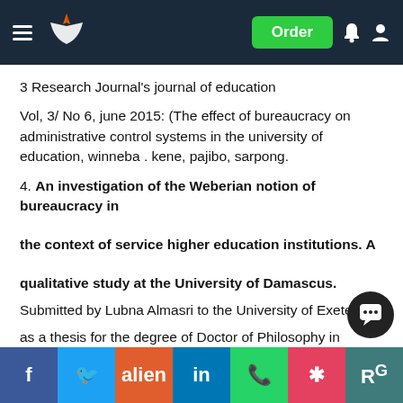Order [navigation bar with logo, hamburger, bell, user icons]
3 Research Journal's journal of education
Vol, 3/ No 6, june 2015: (The effect of bureaucracy on administrative control systems in the university of education, winneba . kene, pajibo, sarpong.
4. An investigation of the Weberian notion of bureaucracy in the context of service higher education institutions. A qualitative study at the University of Damascus.
Submitted by Lubna Almasri to the University of Exeter
as a thesis for the degree of Doctor of Philosophy in Management